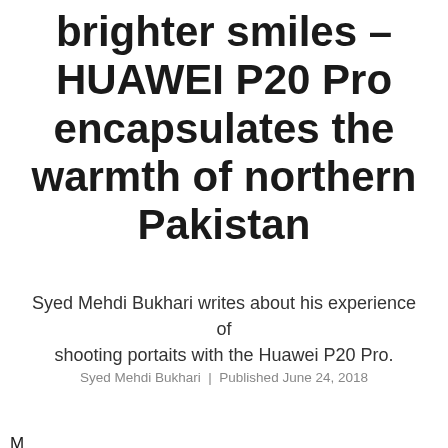brighter smiles – HUAWEI P20 Pro encapsulates the warmth of northern Pakistan
Syed Mehdi Bukhari writes about his experience of shooting portaits with the Huawei P20 Pro.
Syed Mehdi Bukhari | Published June 24, 2018
M...